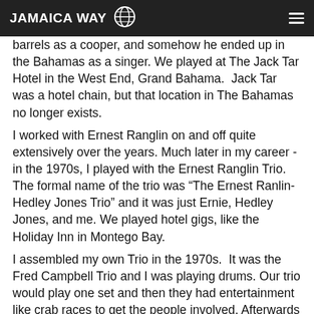JAMAICA WAY
barrels as a cooper, and somehow he ended up in the Bahamas as a singer. We played at The Jack Tar Hotel in the West End, Grand Bahama.  Jack Tar was a hotel chain, but that location in The Bahamas no longer exists.
I worked with Ernest Ranglin on and off quite extensively over the years. Much later in my career -in the 1970s, I played with the Ernest Ranglin Trio. The formal name of the trio was “The Ernest Ranlin-Hedley Jones Trio” and it was just Ernie, Hedley Jones, and me. We played hotel gigs, like the Holiday Inn in Montego Bay.
I assembled my own Trio in the 1970s.  It was the Fred Campbell Trio and I was playing drums. Our trio would play one set and then they had entertainment like crab races to get the people involved. Afterwards we did another half hour set to clean up.  My last job before I